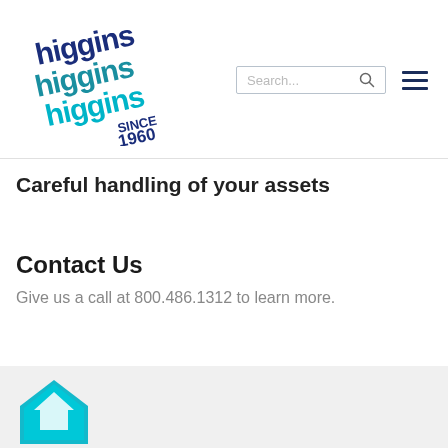[Figure (logo): Higgins Higgins Higgins logo — stacked text in dark blue and teal/cyan colors, with 'SINCE 1960' below, on a rotated square background]
[Figure (screenshot): Search bar with placeholder text 'Search...' and a search icon]
[Figure (other): Hamburger menu icon — three horizontal dark blue lines]
Careful handling of your assets
Contact Us
Give us a call at 800.486.1312 to learn more.
[Figure (other): Teal/cyan house or arrow logo icon partially visible at the bottom of the page]